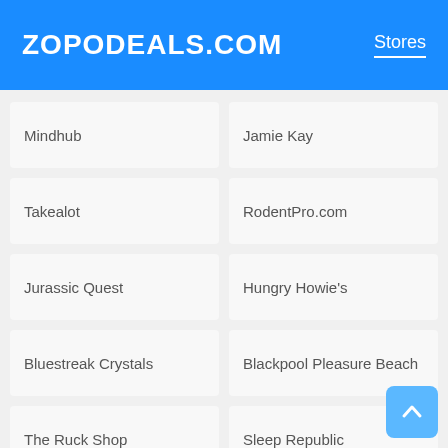ZOPODEALS.COM
Stores
Mindhub
Jamie Kay
Takealot
RodentPro.com
Jurassic Quest
Hungry Howie's
Bluestreak Crystals
Blackpool Pleasure Beach
The Ruck Shop
Sleep Republic
Milwaukee Symphony Orch...
Escape Outdoors
Byredo
Online Stockist
Mountain Electronics
Powertoolworld